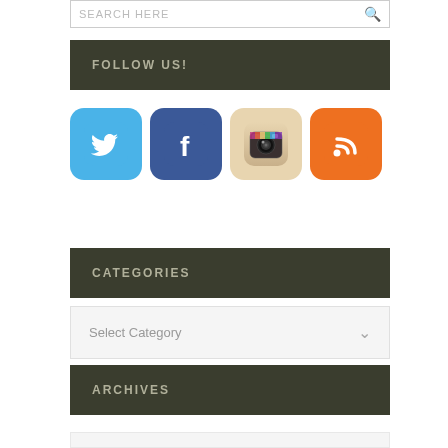SEARCH HERE
FOLLOW US!
[Figure (illustration): Four social media icons: Twitter (blue bird), Facebook (blue f), Instagram (camera), RSS (orange feed icon)]
CATEGORIES
Select Category
ARCHIVES